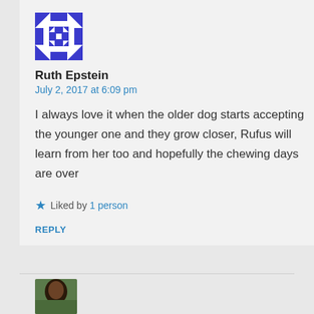[Figure (illustration): Blue and white geometric/snowflake pattern avatar image for user Ruth Epstein]
Ruth Epstein
July 2, 2017 at 6:09 pm
I always love it when the older dog starts accepting the younger one and they grow closer, Rufus will learn from her too and hopefully the chewing days are over
Liked by 1 person
REPLY
[Figure (photo): Small profile photo of another commenter, showing a person with dark curly hair]